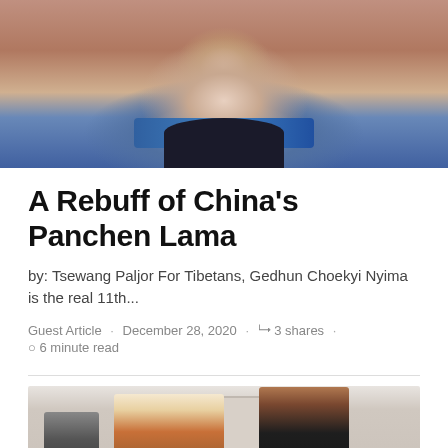[Figure (photo): Close-up photo of a young child, partially blurred, with dark collar and blue scarf visible]
A Rebuff of China's Panchen Lama
by: Tsewang Paljor For Tibetans, Gedhun Choekyi Nyima is the real 11th...
Guest Article · December 28, 2020 · 3 shares · 6 minute read
[Figure (photo): Photo of two men greeting each other, appearing to be the Dalai Lama and Barack Obama in conversation]